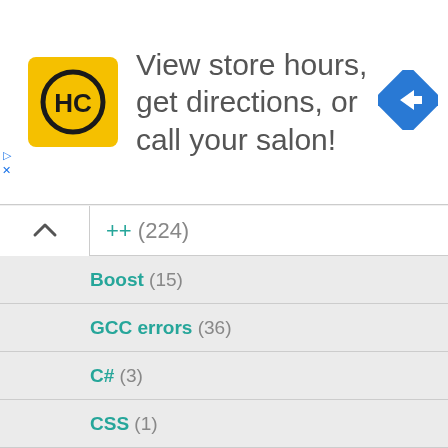[Figure (logo): Haircut salon logo with HC letters in circle on yellow background]
View store hours, get directions, or call your salon!
[Figure (illustration): Blue diamond direction arrow icon]
++ (224)
Boost (15)
GCC errors (36)
C# (3)
CSS (1)
Go (9)
Haskell (8)
Haxe (2)
HTML (7)